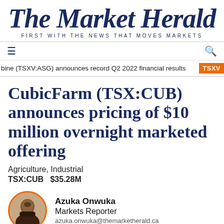The Market Herald — FIRST WITH THE NEWS THAT MOVES MARKETS
bine (TSXV:ASG) announces record Q2 2022 financial results  TSXV
CubicFarm (TSX:CUB) announces pricing of $10 million overnight marketed offering
Agriculture, Industrial
TSX:CUB   $35.28M
Azuka Onwuka
Markets Reporter
azuka.onwuka@themarketherald.ca